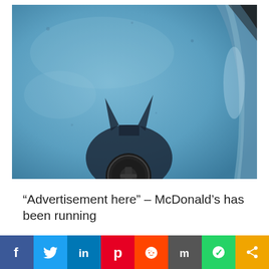[Figure (photo): Close-up photo of a car gas cap on a blue car hood, with a Batman-shaped shadow cast by the gas cap nozzle holder. The shadow resembles the Batman logo with two pointed ears. Bright sunlight scene.]
“Advertisement here” – McDonald’s has been running
[Figure (infographic): Social media sharing bar with icons: Facebook (blue), Twitter (light blue), LinkedIn (dark blue), Pinterest (red), Reddit (orange-red), Mix (dark gray), WhatsApp (green), Share (orange-yellow)]